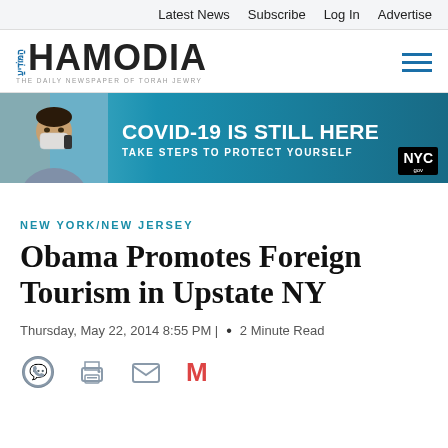Latest News  Subscribe  Log In  Advertise
[Figure (logo): Hamodia newspaper logo with Hebrew text and tagline 'The Daily Newspaper of Torah Jewry']
[Figure (infographic): COVID-19 advertisement banner: photo of person wearing mask on phone, text 'COVID-19 IS STILL HERE', 'TAKE STEPS TO PROTECT YOURSELF', NYC logo]
NEW YORK/NEW JERSEY
Obama Promotes Foreign Tourism in Upstate NY
Thursday, May 22, 2014 8:55 PM |  •  2 Minute Read
[Figure (illustration): Social sharing icons: WhatsApp, Print, Email, Gmail (M)]